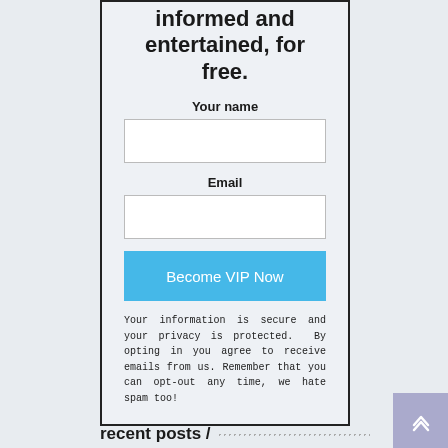informed and entertained, for free.
Your name
Email
Become VIP Now
Your information is secure and your privacy is protected. By opting in you agree to receive emails from us. Remember that you can opt-out any time, we hate spam too!
recent posts /